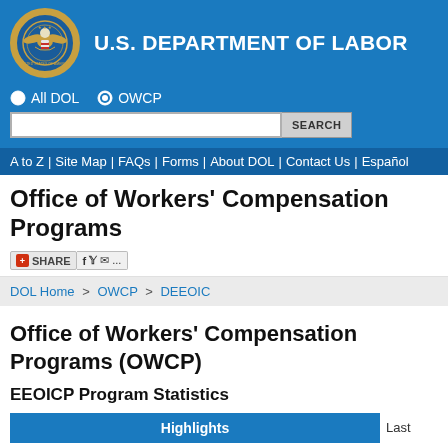U.S. DEPARTMENT OF LABOR
All DOL  OWCP
Office of Workers' Compensation Programs
SHARE
DOL Home > OWCP > DEEOIC
Office of Workers' Compensation Programs (OWCP)
EEOICP Program Statistics
| Highlights | Last |
| --- | --- |